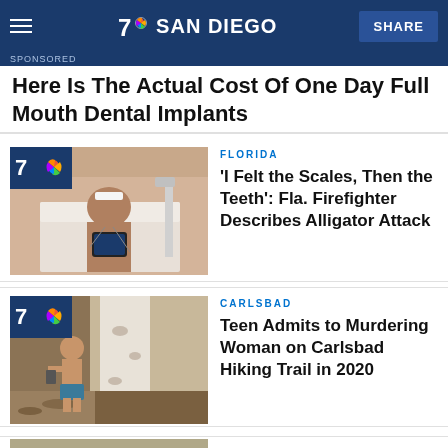NBC 7 SAN DIEGO | SHARE
Here Is The Actual Cost Of One Day Full Mouth Dental Implants
[Figure (photo): Man in hospital bed holding a tablet device with NBC 7 San Diego branding overlay]
FLORIDA
'I Felt the Scales, Then the Teeth': Fla. Firefighter Describes Alligator Attack
[Figure (photo): Shirtless young man in colorful shorts near a tree with NBC 7 San Diego branding overlay]
CARLSBAD
Teen Admits to Murdering Woman on Carlsbad Hiking Trail in 2020